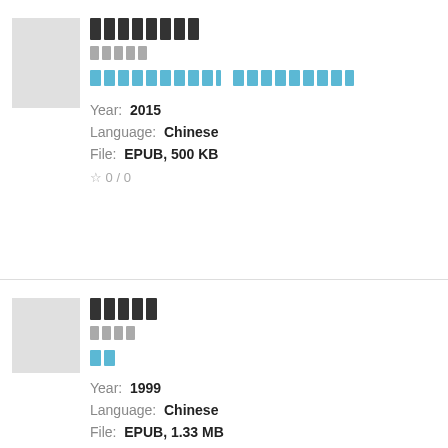[redacted title 1] [redacted subtitle] [redacted link] Year: 2015 Language: Chinese File: EPUB, 500 KB Rating: 0/0
[redacted title 2] [redacted subtitle] [redacted link] Year: 1999 Language: Chinese File: EPUB, 1.33 MB